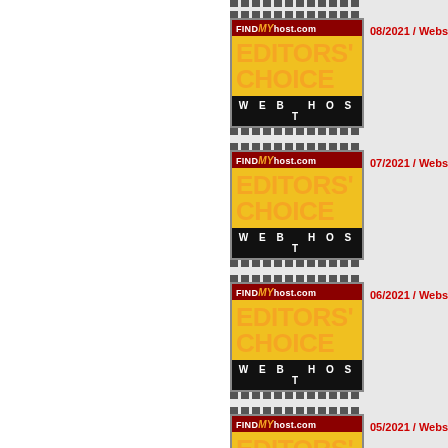[Figure (logo): FindMyHost.com Editors' Choice Web Host badge - partial strip at top visible]
08/2021 / Website Moni...
[Figure (logo): FindMyHost.com Editors' Choice Web Host badge - 08/2021]
07/2021 / Website Moni...
[Figure (logo): FindMyHost.com Editors' Choice Web Host badge - 07/2021]
06/2021 / Website Moni...
[Figure (logo): FindMyHost.com Editors' Choice Web Host badge - 06/2021]
05/2021 / Website Moni...
[Figure (logo): FindMyHost.com Editors' Choice Web Host badge - 05/2021]